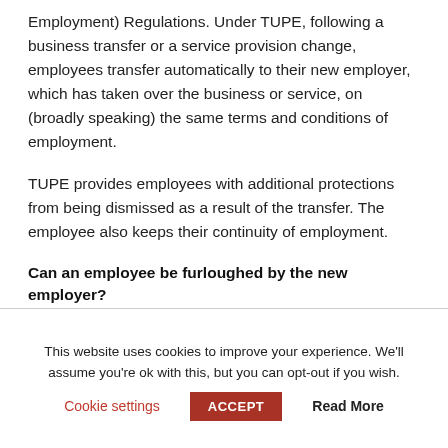Employment) Regulations. Under TUPE, following a business transfer or a service provision change, employees transfer automatically to their new employer, which has taken over the business or service, on (broadly speaking) the same terms and conditions of employment.
TUPE provides employees with additional protections from being dismissed as a result of the transfer. The employee also keeps their continuity of employment.
Can an employee be furloughed by the new employer?
Business transfers
This website uses cookies to improve your experience. We'll assume you're ok with this, but you can opt-out if you wish.